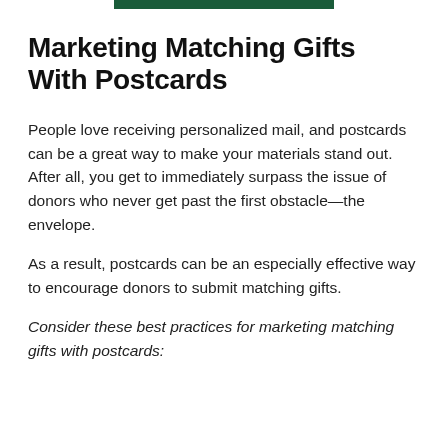[Figure (other): Dark green horizontal bar at top center of page]
Marketing Matching Gifts With Postcards
People love receiving personalized mail, and postcards can be a great way to make your materials stand out. After all, you get to immediately surpass the issue of donors who never get past the first obstacle—the envelope.
As a result, postcards can be an especially effective way to encourage donors to submit matching gifts.
Consider these best practices for marketing matching gifts with postcards: